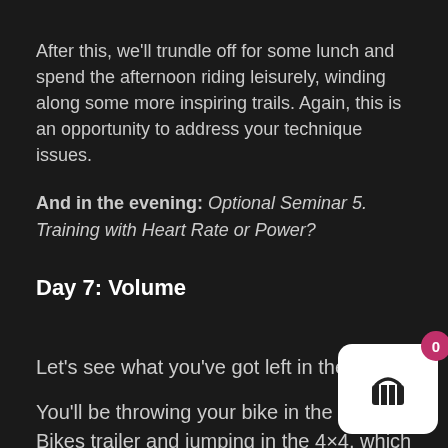After this, we'll trundle off for some lunch and spend the afternoon riding leisurely, winding along some more inspiring trails. Again, this is an opportunity to address your technique issues.
And in the evening: Optional Seminar 5. Training with Heart Rate or Power?
Day 7: Volume
Let's see what you've got left in the tank?
You'll be throwing your bike in the Intl. Bikes trailer and jumping in the 4×4, which will trans to the beautiful white village of Ojen. Two BH- Nevada professionals live and train in Ojen, less